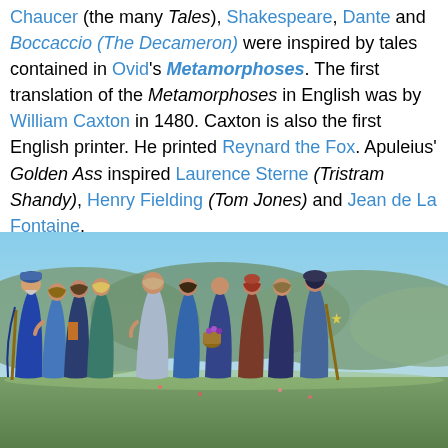Chaucer (the many Tales), Shakespeare, Dante and Boccaccio (The Decameron) were inspired by tales contained in Ovid's Metamorphoses. The first translation of the Metamorphoses in English was by William Caxton in 1480. Caxton is also the first English printer. He printed Reynard the Fox. Apuleius' Golden Ass inspired Laurence Sterne (Tristram Shandy), Henry Fielding (Tom Jones) and Jean de La Fontaine.
[Figure (illustration): A Pre-Raphaelite style painting showing a group of figures in medieval robes walking across a landscape with hills in the background. Multiple women in blue, green, and grey garments are shown alongside an older bearded man with a staff.]